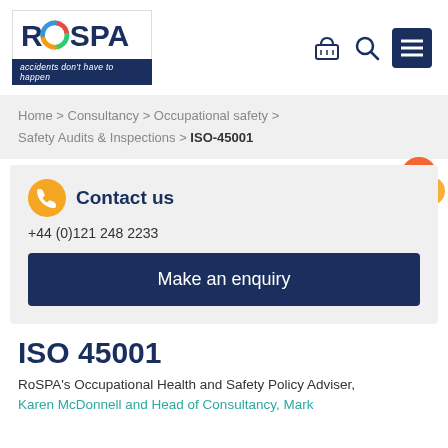[Figure (logo): RoSPA logo with tagline 'accidents don't have to happen']
Home > Consultancy > Occupational safety > Safety Audits & Inspections > ISO-45001
Contact us
+44 (0)121 248 2233
Make an enquiry
ISO 45001
RoSPA's Occupational Health and Safety Policy Adviser,